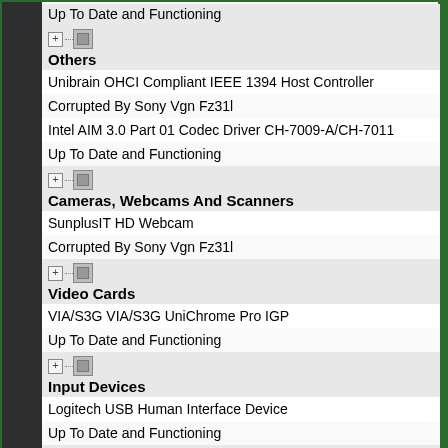Up To Date and Functioning
Others
Unibrain OHCI Compliant IEEE 1394 Host Controller
Corrupted By Sony Vgn Fz31l
Intel AIM 3.0 Part 01 Codec Driver CH-7009-A/CH-7011
Up To Date and Functioning
Cameras, Webcams And Scanners
SunplusIT HD Webcam
Corrupted By Sony Vgn Fz31l
Video Cards
VIA/S3G VIA/S3G UniChrome Pro IGP
Up To Date and Functioning
Input Devices
Logitech USB Human Interface Device
Up To Date and Functioning